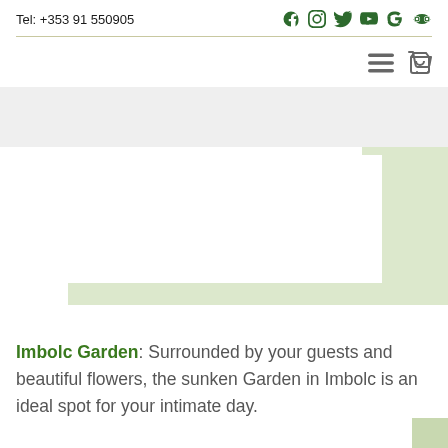Tel: +353 91 550905
[Figure (infographic): Social media icons: Facebook, Instagram, Twitter, YouTube, Google, Tripadvisor - all in dark green]
[Figure (infographic): Hamburger menu icon and shopping cart icon in gray]
[Figure (photo): Photo placeholder area - sunken garden image from Imbolc Garden]
Imbolc Garden: Surrounded by your guests and beautiful flowers, the sunken Garden in Imbolc is an ideal spot for your intimate day.